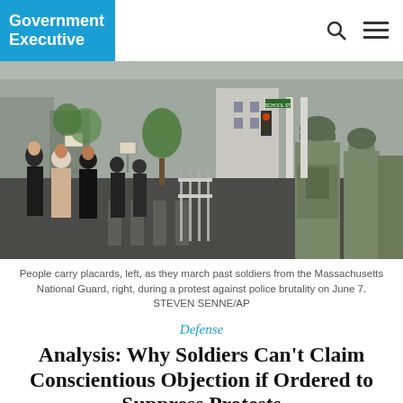Government Executive
[Figure (photo): Protesters carrying placards march past a line of soldiers from the Massachusetts National Guard in full military gear on a city street.]
People carry placards, left, as they march past soldiers from the Massachusetts National Guard, right, during a protest against police brutality on June 7. STEVEN SENNE/AP
Defense
Analysis: Why Soldiers Can't Claim Conscientious Objection if Ordered to Suppress Protests